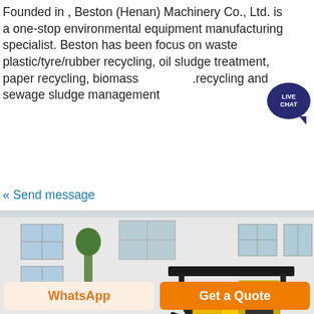Founded in , Beston (Henan) Machinery Co., Ltd. is a one-stop environmental equipment manufacturing specialist. Beston has been focus on waste plastic/tyre/rubber recycling, oil sludge treatment, paper recycling, biomass recycling and sewage sludge management
« Send message
[Figure (photo): Yellow mini excavator parked in a factory yard in front of a white industrial building with large windows. The machine has a black canopy roof, articulated arm with bucket attachment, and yellow body.]
WhatsApp
Get a Quote